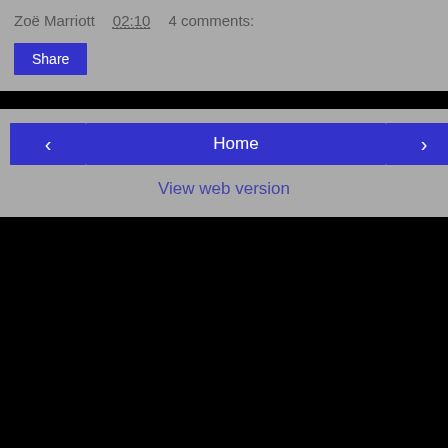Zoë Marriott   02:10   4 comments:
Share
‹
Home
›
View web version